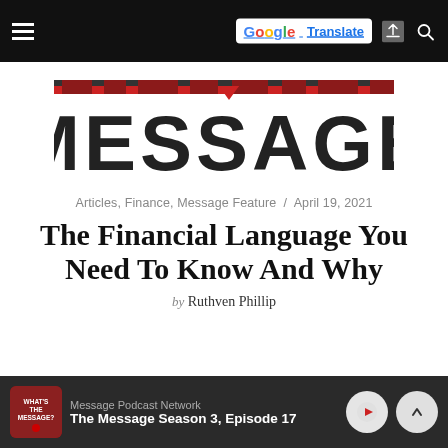MESSAGE — Articles, Finance, Message Feature
[Figure (logo): MESSAGE magazine logo — large bold serif letters with red decorative top element]
Articles, Finance, Message Feature / April 19, 2021
The Financial Language You Need To Know And Why
by Ruthven Phillip
[Figure (infographic): Bottom podcast player bar: Message Podcast Network — The Message Season 3, Episode 17, with play and chevron-up controls and podcast thumbnail]